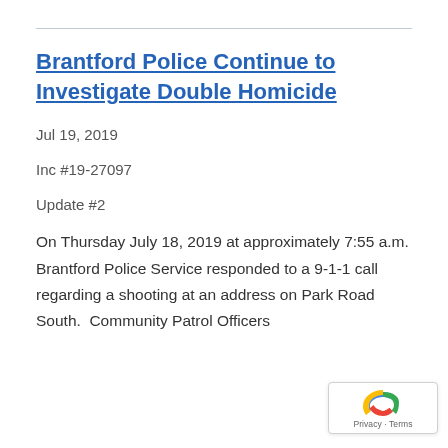Brantford Police Continue to Investigate Double Homicide
Jul 19, 2019
Inc #19-27097
Update #2
On Thursday July 18, 2019 at approximately 7:55 a.m. Brantford Police Service responded to a 9-1-1 call regarding a shooting at an address on Park Road South.  Community Patrol Officers